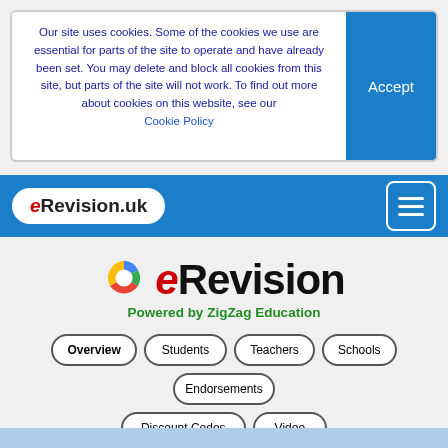Our site uses cookies. Some of the cookies we use are essential for parts of the site to operate and have already been set. You may delete and block all cookies from this site, but parts of the site will not work. To find out more about cookies on this website, see our Cookie Policy
[Figure (logo): Accept button (blue rectangle with white text)]
[Figure (logo): eRevision.uk navbar logo on blue navigation bar with hamburger menu icon]
[Figure (logo): eRevision circular segmented logo (blue, red, green, orange segments)]
eRevision
Powered by ZigZag Education
Overview
Students
Teachers
Schools
Endorsements
Discount Codes
Video